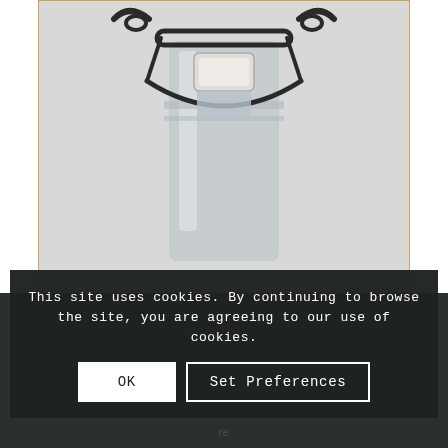[Figure (photo): Close-up photograph of a porcelain swing top stopper mechanism on a glass bottle, showing the metal wire bail and ceramic stopper, black and white/grayscale image with gold border]
Porcelain Swing Top Stopper
This site uses cookies. By continuing to browse the site, you are agreeing to our use of cookies.
OK
Set Preferences